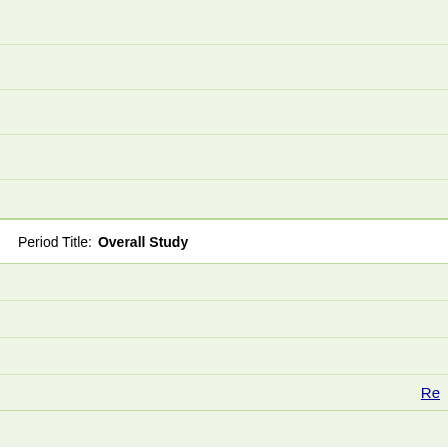Period Title: Overall Study
Re
Baseline Characteristics
▼ Arr